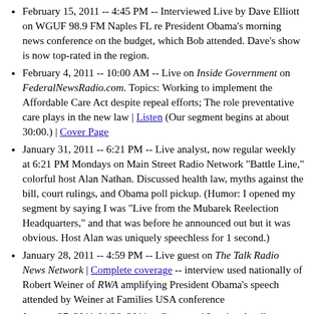February 15, 2011 -- 4:45 PM -- Interviewed Live by Dave Elliott on WGUF 98.9 FM Naples FL re President Obama's morning news conference on the budget, which Bob attended. Dave's show is now top-rated in the region.
February 4, 2011 -- 10:00 AM -- Live on Inside Government on FederalNewsRadio.com. Topics: Working to implement the Affordable Care Act despite repeal efforts; The role preventative care plays in the new law | Listen (Our segment begins at about 30:00.) | Cover Page
January 31, 2011 -- 6:21 PM -- Live analyst, now regular weekly at 6:21 PM Mondays on Main Street Radio Network "Battle Line," colorful host Alan Nathan. Discussed health law, myths against the bill, court rulings, and Obama poll pickup. (Humor: I opened my segment by saying I was "Live from the Mubarek Reelection Headquarters," and that was before he announced out but it was obvious. Host Alan was uniquely speechless for 1 second.)
January 28, 2011 -- 4:59 PM -- Live guest on The Talk Radio News Network | Complete coverage -- interview used nationally of Robert Weiner of RWA amplifying President Obama's speech attended by Weiner at Families USA conference
January 27, 2011-01/28, 2011 -- Guest on 16 national radio interviews at Families USA Health Action "Radio Row," before and after address by President Obama to meeting in Washington DC. Clips and summaries available: